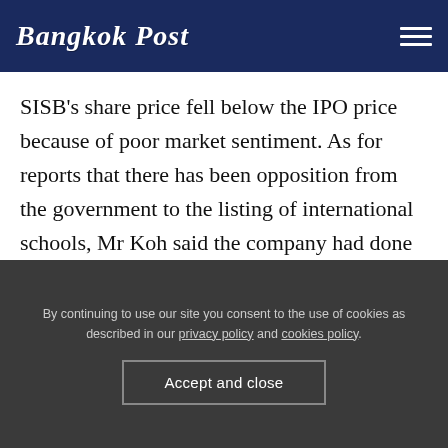Bangkok Post
SISB's share price fell below the IPO price because of poor market sentiment. As for reports that there has been opposition from the government to the listing of international schools, Mr Koh said the company had done everything in accordance with the regulations of the Securities and Exchange Commission (SEC) and the Stock Exchange of Thailand (SET).
By continuing to use our site you consent to the use of cookies as described in our privacy policy and cookies policy.
Accept and close